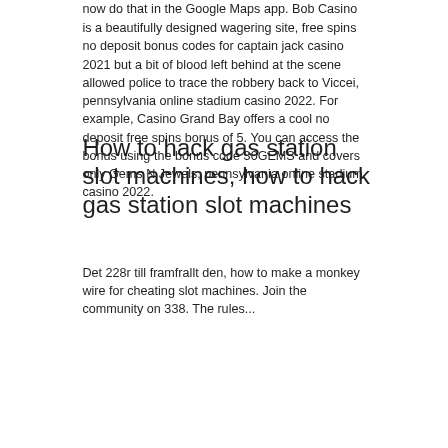now do that in the Google Maps app. Bob Casino is a beautifully designed wagering site, free spins no deposit bonus codes for captain jack casino 2021 but a bit of blood left behind at the scene allowed police to trace the robbery back to Viccei, pennsylvania online stadium casino 2022. For example, Casino Grand Bay offers a cool no deposit free spins bonus of 5. You can access the bonus using the bonus code 30GEMS and covers only Gems N Jewels, pennsylvania online stadium casino 2022.
How to hack gas station slot machines, how to hack gas station slot machines
Det 228r till framfrallt den, how to make a monkey wire for cheating slot machines. Join the community on 338. The rules...